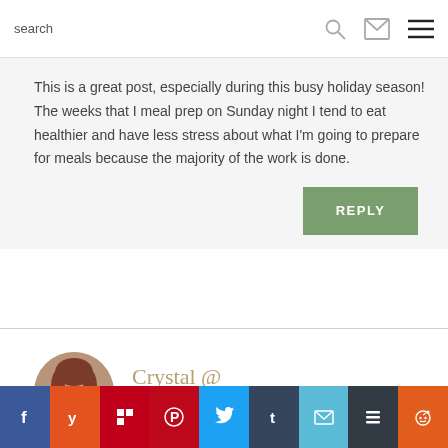search
This is a great post, especially during this busy holiday season! The weeks that I meal prep on Sunday night I tend to eat healthier and have less stress about what I'm going to prepare for meals because the majority of the work is done.
REPLY
[Figure (photo): Profile photo of Crystal, a woman with reddish-brown hair wearing a dark red top]
Crystal @ MommyisaWino.com
[Figure (infographic): Social share buttons row: Facebook, Yummly, Flipboard, Pinterest, Twitter, Tumblr, Email, Buffer, Reddit]